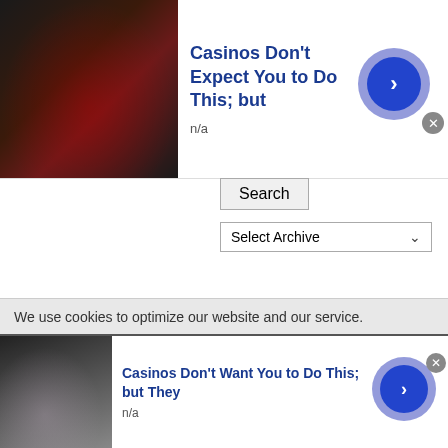[Figure (other): Ad banner with photo of person in dark jacket, title 'Casinos Don't Expect You to Do This; but', subtitle 'n/a', and blue arrow button]
Search
Select Archive
RECENT COMMENTS
danceaway on Germany should shoot its traitorous leaders.
danceaway on Brian Berletic Discusses the Malicious Strategy to Destroy Russia Recommended in the Rand Report of 2019
We use cookies to optimize our website and our service.
[Figure (other): Ad banner with photo of person in light clothing, title 'Casinos Don't Want You to Do This; but They', subtitle 'n/a', and blue arrow button]